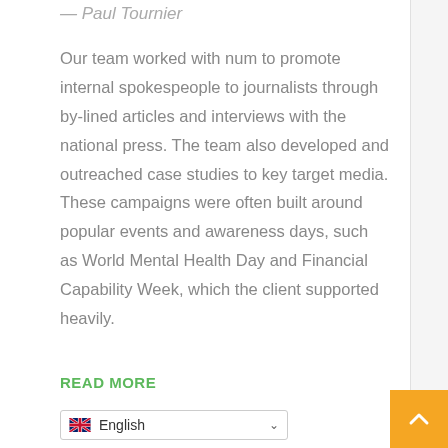— Paul Tournier
Our team worked with num to promote internal spokespeople to journalists through by-lined articles and interviews with the national press. The team also developed and outreached case studies to key target media. These campaigns were often built around popular events and awareness days, such as World Mental Health Day and Financial Capability Week, which the client supported heavily.
READ MORE